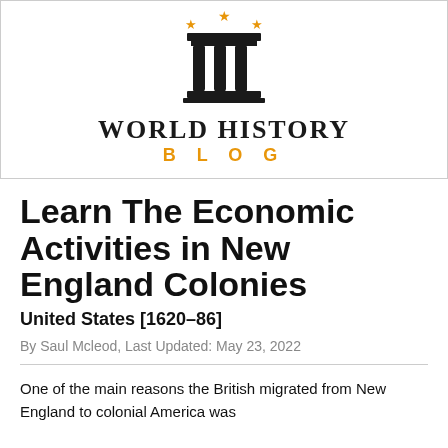[Figure (logo): World History Blog logo with a classical pillar/column icon with three orange stars above it, and text WORLD HISTORY BLOG below]
Learn The Economic Activities in New England Colonies
United States [1620–86]
By Saul Mcleod, Last Updated: May 23, 2022
One of the main reasons the British migrated from New England to colonial America was